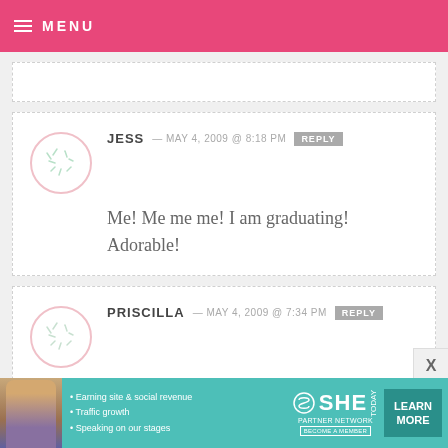MENU
Me! Me me me! I am graduating! Adorable!
JESS — MAY 4, 2009 @ 8:18 PM REPLY
Wow, I love these. I am graduating from high school this month. I may try
PRISCILLA — MAY 4, 2009 @ 7:34 PM REPLY
[Figure (infographic): SHE Partner Network advertisement banner with learn more button]